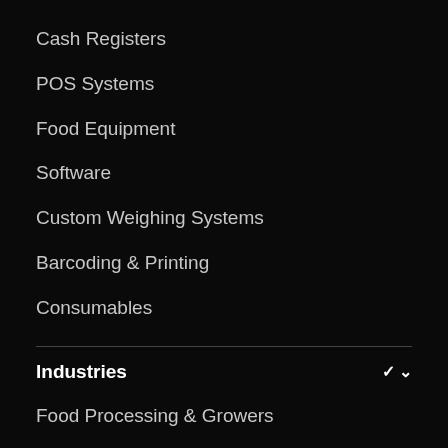Cash Registers
POS Systems
Food Equipment
Software
Custom Weighing Systems
Barcoding & Printing
Consumables
Industries
Food Processing & Growers
Healthcare & Veterinary
Laboratory, R&D